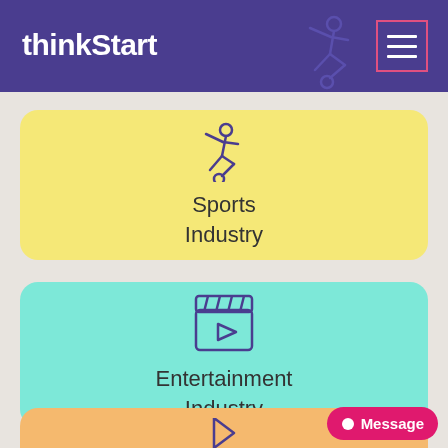thinkStart
[Figure (illustration): Sports Industry card with soccer/running person icon]
Sports Industry
[Figure (illustration): Entertainment Industry card with film clapperboard icon]
Entertainment Industry
[Figure (illustration): Partial orange industry card at bottom]
Message